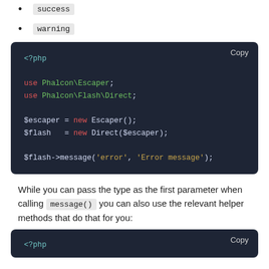success
warning
[Figure (screenshot): PHP code block showing: <?php use Phalcon\Escaper; use Phalcon\Flash\Direct; $escaper = new Escaper(); $flash = new Direct($escaper); $flash->message('error', 'Error message');]
While you can pass the type as the first parameter when calling message() you can also use the relevant helper methods that do that for you:
[Figure (screenshot): PHP code block starting with <?php (partial, cut off at bottom)]